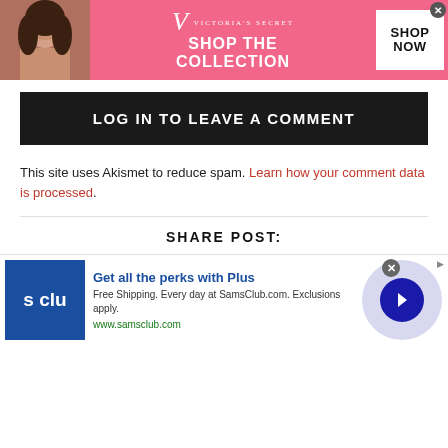[Figure (screenshot): Victoria's Secret advertisement banner with model photo, VS logo, 'SHOP THE COLLECTION' text, and 'SHOP NOW' button on pink background]
LOG IN TO LEAVE A COMMENT
This site uses Akismet to reduce spam. Learn how your comment data is processed.
SHARE POST:
[Figure (screenshot): Sam's Club 'Get all the perks with Plus' advertisement with logo, description text, and arrow button]